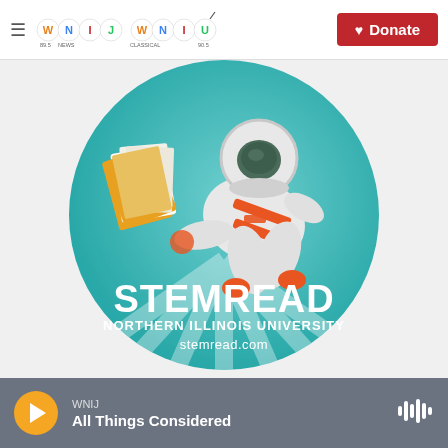WNIJ | WNIU — 89.5 NEWS / CLASSICAL 90.5 — Donate
[Figure (logo): STEM READ Northern Illinois University stemread.com logo — circular teal badge featuring an astronaut in white and orange suit floating with an open book, bold white text reading STEMREAD NORTHERN ILLINOIS UNIVERSITY stemread.com]
WNIJ — All Things Considered